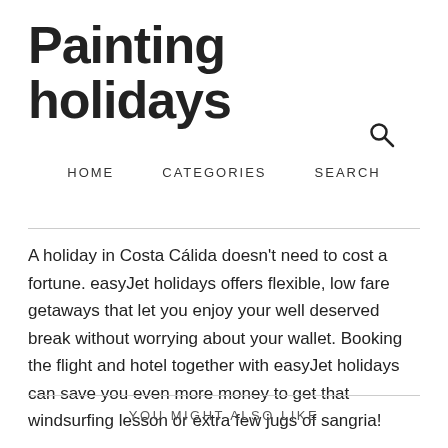Painting holidays
HOME   CATEGORIES   SEARCH
A holiday in Costa Cálida doesn't need to cost a fortune. easyJet holidays offers flexible, low fare getaways that let you enjoy your well deserved break without worrying about your wallet. Booking the flight and hotel together with easyJet holidays can save you even more money to get that windsurfing lesson or extra few jugs of sangria!
YOU MIGHT ALSO LIKE